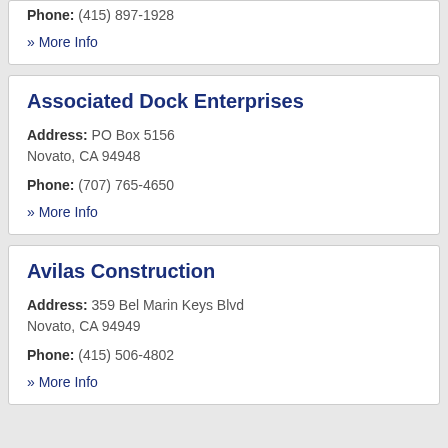Phone: (415) 897-1928
» More Info
Associated Dock Enterprises
Address: PO Box 5156 Novato, CA 94948
Phone: (707) 765-4650
» More Info
Avilas Construction
Address: 359 Bel Marin Keys Blvd Novato, CA 94949
Phone: (415) 506-4802
» More Info